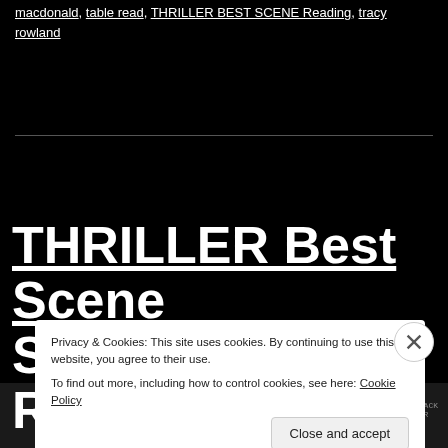macdonald, table read, THRILLER BEST SCENE Reading, tracy rowland
THRILLER Best Scene Screenplay Reading: Spy
Privacy & Cookies: This site uses cookies. By continuing to use this website, you agree to their use. To find out more, including how to control cookies, see here: Cookie Policy
Close and accept